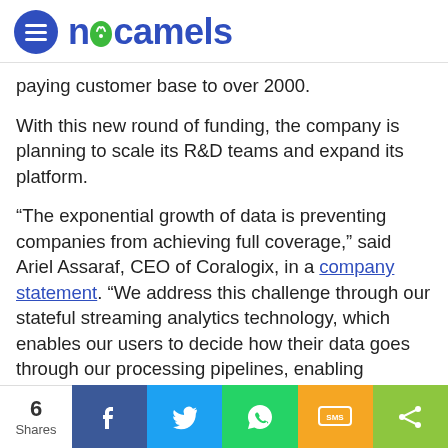nocamels
paying customer base to over 2000.
With this new round of funding, the company is planning to scale its R&D teams and expand its platform.
“The exponential growth of data is preventing companies from achieving full coverage,” said Ariel Assaraf, CEO of Coralogix, in a company statement. “We address this challenge through our stateful streaming analytics technology, which enables our users to decide how their data goes through our processing pipelines, enabling storage-free insights.”
In a blog post, Assaraf said the company’s current goal was “to advance our storage-less vision and use Streama
6 Shares